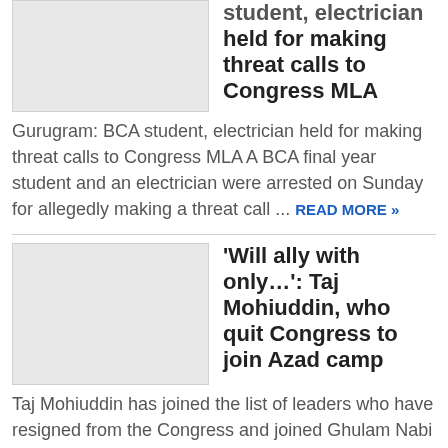[Figure (photo): Gray placeholder image for article 1]
student, electrician held for making threat calls to Congress MLA
Gurugram: BCA student, electrician held for making threat calls to Congress MLA A BCA final year student and an electrician were arrested on Sunday for allegedly making a threat call ...
READ MORE »
[Figure (photo): Gray placeholder image for article 2]
'Will ally with only...': Taj Mohiuddin, who quit Congress to join Azad camp
Taj Mohiuddin has joined the list of leaders who have resigned from the Congress and joined Ghulam Nabi Azad's camp. (ANI Photo) Taj Mohiuddin, who joined the Ghulam Nabi Azad ...
READ MORE »